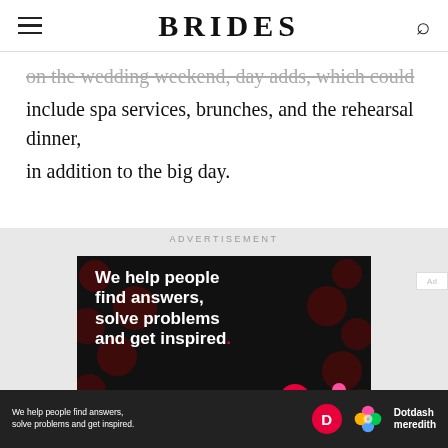BRIDES
on the wedding weekend, day-adds, which could include spa services, brunches, and the rehearsal dinner, in addition to the big day.
ADVERTISEMENT
[Figure (illustration): Dark advertisement banner with red polka dot pattern background. White bold text reads: 'We help people find answers, solve problems and get inspired.' with a red period. Below is 'LEARN MORE' with a red arrow. Bottom right shows Dotdash and Meredith logo icons.]
[Figure (illustration): Black sticky bottom bar with text 'We help people find answers, solve problems and get inspired.' alongside Dotdash and Meredith logos and brand name.]